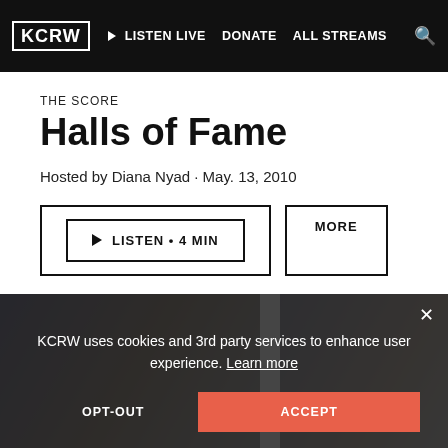KCRW | LISTEN LIVE | DONATE | ALL STREAMS
THE SCORE
Halls of Fame
Hosted by Diana Nyad · May. 13, 2010
▶ LISTEN · 4 MIN | MORE
[Figure (photo): Photo of two people in suits at what appears to be a ceremony or event, with a cookie consent overlay showing: 'KCRW uses cookies and 3rd party services to enhance user experience. Learn more' with OPT-OUT and ACCEPT buttons.]
KCRW uses cookies and 3rd party services to enhance user experience. Learn more
OPT-OUT
ACCEPT
Your Privacy